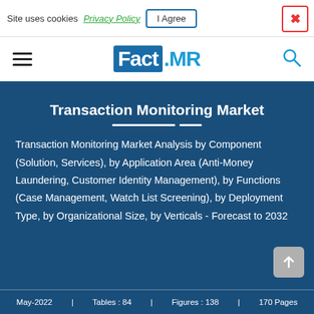Site uses cookies  Privacy Policy  I Agree  ✕
[Figure (logo): Fact.MR logo with hamburger menu and search icon in navigation bar]
Transaction Monitoring Market
Transaction Monitoring Market Analysis by Component (Solution, Services), by Application Area (Anti-Money Laundering, Customer Identity Management), by Functions (Case Management, Watch List Screening), by Deployment Type, by Organizational Size, by Verticals - Forecast to 2032
May-2022  |  Tables : 84  |  Figures : 138  |  170 Pages